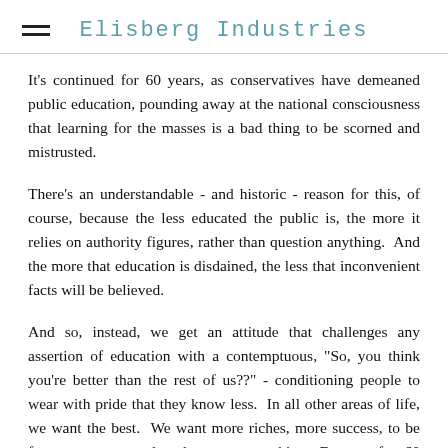Elisberg Industries
It's continued for 60 years, as conservatives have demeaned public education, pounding away at the national consciousness that learning for the masses is a bad thing to be scorned and mistrusted.
There's an understandable - and historic - reason for this, of course, because the less educated the public is, the more it relies on authority figures, rather than question anything.  And the more that education is disdained, the less that inconvenient facts will be believed.
And so, instead, we get an attitude that challenges any assertion of education with a contemptuous, "So, you think you're better than the rest of us??" - conditioning people to wear with pride that they know less.  In all other areas of life, we want the best.  We want more riches, more success, to be faster, stronger, cooler - better at everything.  Except, after 60 years of conservative